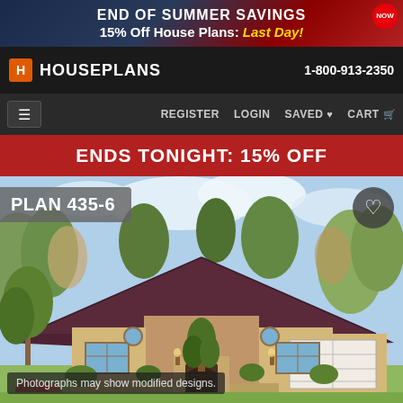[Figure (screenshot): Advertisement banner: END OF SUMMER SAVINGS - 15% Off House Plans: Last Day! with NOW badge]
HOUSEPLANS   1-800-913-2350
REGISTER   LOGIN   SAVED   CART
ENDS TONIGHT: 15% OFF
PLAN 435-6
[Figure (illustration): Illustrated front elevation of a ranch-style house (Plan 435-6) with dark hip roof, brick and siding exterior, attached two-car garage, circular windows, arched entry, and landscaping]
Photographs may show modified designs.